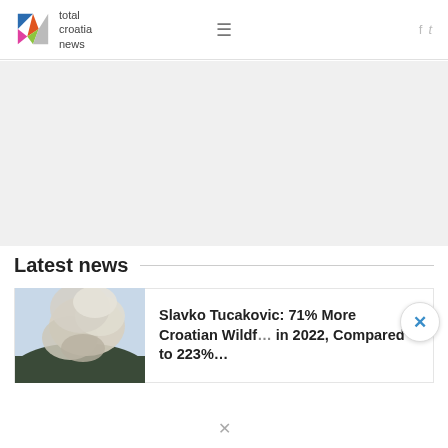total croatia news
[Figure (other): Gray advertisement banner placeholder area]
Latest news
[Figure (photo): Wildfire smoke rising above a hillside/mountain, with dramatic smoke cloud visible]
Slavko Tucakovic: 71% More Croatian Wildf... in 2022, Compared to 223%...